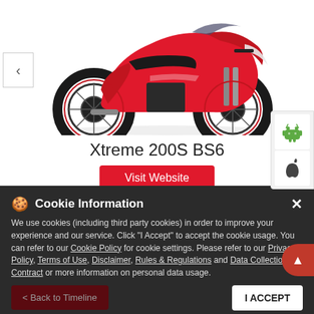[Figure (photo): Red Hero Xtreme 200S BS6 motorcycle on white background, side profile view]
Xtreme 200S BS6
[Figure (illustration): Visit Website red button]
[Figure (logo): Android and Apple iOS app store icons on right side panel]
Cookie Information
We use cookies (including third party cookies) in order to improve your experience and our service. Click "I Accept" to accept the cookie usage. You can refer to our Cookie Policy for cookie settings. Please refer to our Privacy Policy, Terms of Use, Disclaimer, Rules & Regulations and Data Collection Contract or more information on personal data usage.